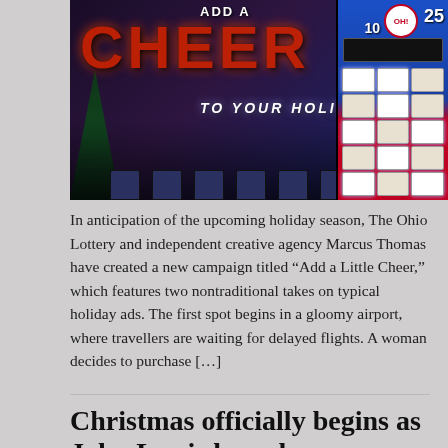[Figure (photo): Indoor holiday event photo with 'ADD A LITTLE CHEER TO YOUR HOLIDAYS' signage made of balloons/lights, people in background, empty chairs in foreground, Christmas tree on left, Ohio Lottery branded gaming machine on right with numbers 10 and 25 visible.]
In anticipation of the upcoming holiday season, The Ohio Lottery and independent creative agency Marcus Thomas have created a new campaign titled “Add a Little Cheer,” which features two nontraditional takes on typical holiday ads. The first spot begins in a gloomy airport, where travellers are waiting for delayed flights. A woman decides to purchase […]
Christmas officially begins as John Lewis launches new